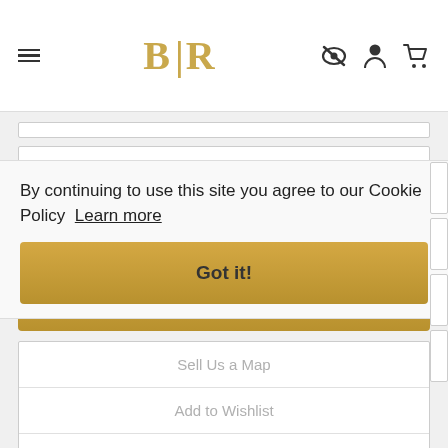BLR
| Stock# 84322 | $ 195.00 |
| --- | --- |
Add to Cart
Sell Us a Map
Add to Wishlist
Print
Share
By continuing to use this site you agree to our Cookie Policy  Learn more
Got it!